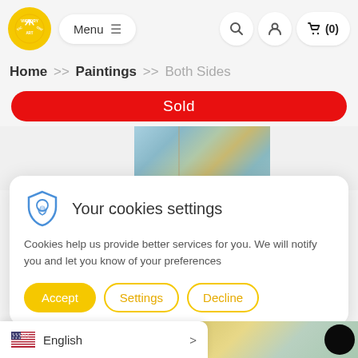Victory Art — Menu | Search | Account | Cart (0)
Home > Paintings > Both Sides
Sold
[Figure (photo): Partial view of a blue-green abstract painting titled 'Both Sides']
Your cookies settings
Cookies help us provide better services for you. We will notify you and let you know of your preferences
Accept | Settings | Decline
English >